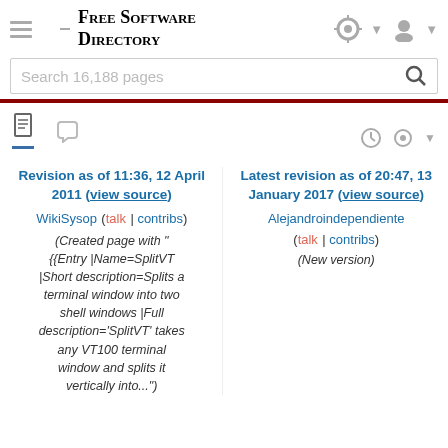Free Software Directory
Search 16,188 pages
Revision as of 11:36, 12 April 2011 (view source)
WikiSysop (talk | contribs)
(Created page with "{{Entry |Name=SplitVT |Short description=Splits a terminal window into two shell windows |Full description='SplitVT' takes any VT100 terminal window and splits it vertically into...")
Latest revision as of 20:47, 13 January 2017 (view source)
Alejandroindependiente (talk | contribs)
(New version)